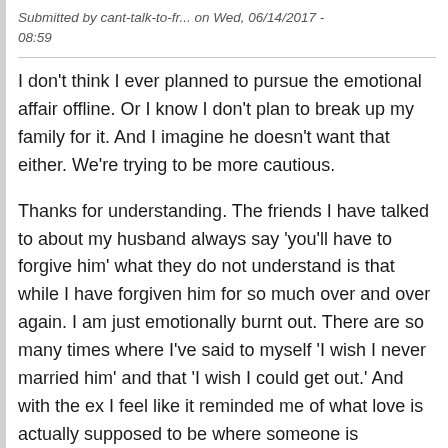Submitted by cant-talk-to-fr... on Wed, 06/14/2017 - 08:59
I don't think I ever planned to pursue the emotional affair offline. Or I know I don't plan to break up my family for it. And I imagine he doesn't want that either. We're trying to be more cautious.
Thanks for understanding. The friends I have talked to about my husband always say 'you'll have to forgive him' what they do not understand is that while I have forgiven him for so much over and over again. I am just emotionally burnt out. There are so many times where I've said to myself 'I wish I never married him' and that 'I wish I could get out.' And with the ex I feel like it reminded me of what love is actually supposed to be where someone is thoughtful and sees you clearly.